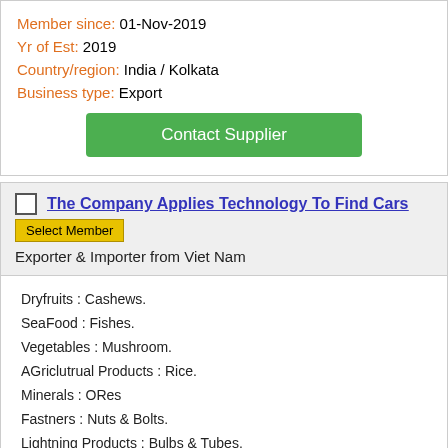Member since: 01-Nov-2019
Yr of Est: 2019
Country/region: India / Kolkata
Business type: Export
Contact Supplier
The Company Applies Technology To Find Cars
Select Member
Exporter & Importer from Viet Nam
Dryfruits : Cashews.
SeaFood : Fishes.
Vegetables : Mushroom.
AGriclutrual Products : Rice.
Minerals : ORes
Fastners : Nuts & Bolts.
Lightning Products : Bulbs & Tubes.
Home Textiles & Furnishings: Carpets, Cushions & Pillows, Quilts, towels & handkerChiefs.